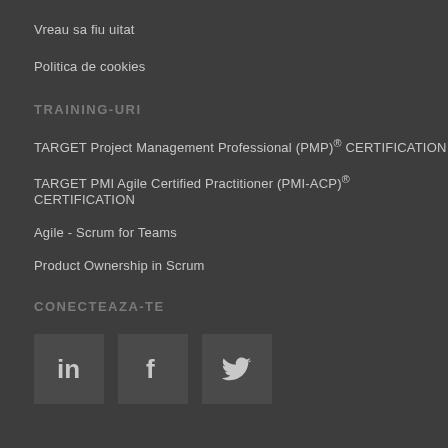Vreau sa fiu uitat
Politica de cookies
TRAINING-URI
TARGET Project Management Professional (PMP)® CERTIFICATION
TARGET PMI Agile Certified Practitioner (PMI-ACP)® CERTIFICATION
Agile - Scrum for Teams
Product Ownership in Scrum
CONECTEAZA-TE
[Figure (infographic): Social media icons: LinkedIn, Facebook, Twitter in square boxes]